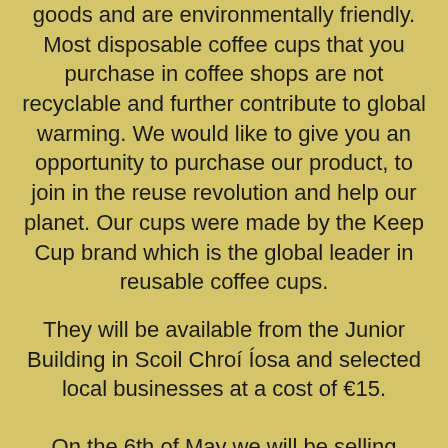goods and are environmentally friendly. Most disposable coffee cups that you purchase in coffee shops are not recyclable and further contribute to global warming. We would like to give you an opportunity to purchase our product, to join in the reuse revolution and help our planet. Our cups were made by the Keep Cup brand which is the global leader in reusable coffee cups.
They will be available from the Junior Building in Scoil Chroí Íosa and selected local businesses at a cost of €15.
On the 6th of May we will be selling KeepCups at the Car Boot Sale in the